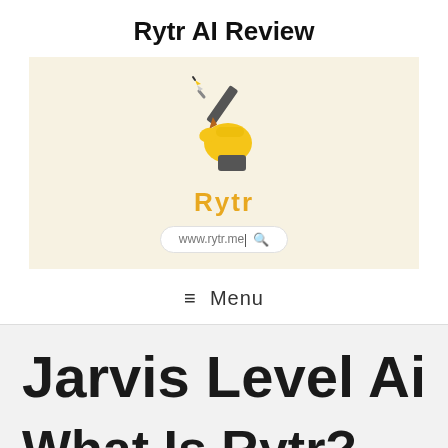Rytr AI Review
[Figure (logo): Rytr logo: a yellow hand holding a pencil/pen on a cream background, with the word 'Rytr' in gold/amber below, and a URL bar showing www.rytr.me with a search icon]
≡ Menu
Jarvis Level Ai
What Is Rytr?